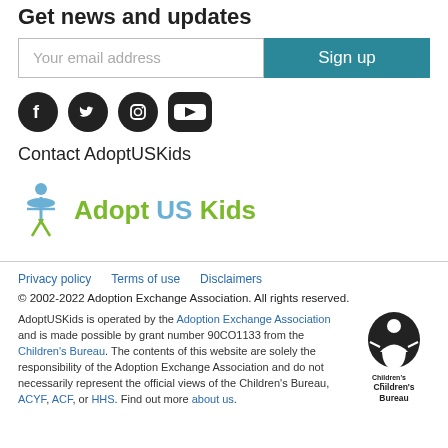Get news and updates
[Figure (screenshot): Email signup form with 'Your email address' input field and teal 'Sign up' button]
[Figure (infographic): Social media icons: Facebook, Twitter, Instagram, YouTube]
Contact AdoptUSKids
[Figure (logo): AdoptUSKids logo with a stylized figure icon and text 'Adopt US Kids' in green and blue]
Privacy policy   Terms of use   Disclaimers
© 2002-2022 Adoption Exchange Association. All rights reserved.
AdoptUSKids is operated by the Adoption Exchange Association and is made possible by grant number 90CO1133 from the Children's Bureau. The contents of this website are solely the responsibility of the Adoption Exchange Association and do not necessarily represent the official views of the Children's Bureau, ACYF, ACF, or HHS. Find out more about us.